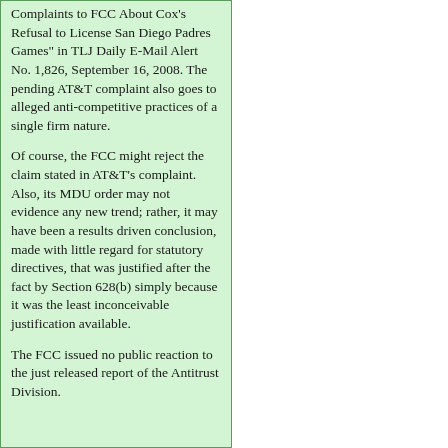Complaints to FCC About Cox's Refusal to License San Diego Padres Games" in TLJ Daily E-Mail Alert No. 1,826, September 16, 2008. The pending AT&T complaint also goes to alleged anti-competitive practices of a single firm nature.
Of course, the FCC might reject the claim stated in AT&T's complaint. Also, its MDU order may not evidence any new trend; rather, it may have been a results driven conclusion, made with little regard for statutory directives, that was justified after the fact by Section 628(b) simply because it was the least inconceivable justification available.
The FCC issued no public reaction to the just released report of the Antitrust Division.